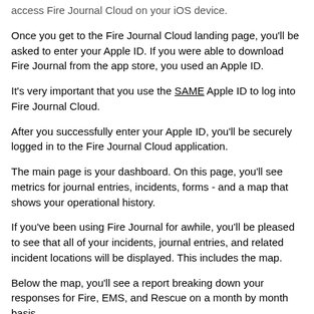access Fire Journal Cloud on your iOS device.
Once you get to the Fire Journal Cloud landing page, you'll be asked to enter your Apple ID. If you were able to download Fire Journal from the app store, you used an Apple ID.
It's very important that you use the SAME Apple ID to log into Fire Journal Cloud.
After you successfully enter your Apple ID, you'll be securely logged in to the Fire Journal Cloud application.
The main page is your dashboard. On this page, you'll see metrics for journal entries, incidents, forms - and a map that shows your operational history.
If you've been using Fire Journal for awhile, you'll be pleased to see that all of your incidents, journal entries, and related incident locations will be displayed. This includes the map.
Below the map, you'll see a report breaking down your responses for Fire, EMS, and Rescue on a month by month basis.
To the left, you'll see a menu that provides access to key Fire Journal Cloud activities and functions.